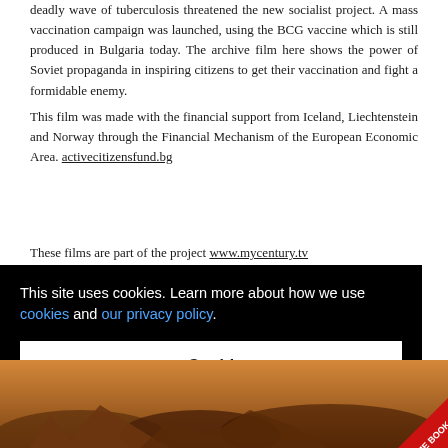deadly wave of tuberculosis threatened the new socialist project. A mass vaccination campaign was launched, using the BCG vaccine which is still produced in Bulgaria today. The archive film here shows the power of Soviet propaganda in inspiring citizens to get their vaccination and fight a formidable enemy.
This film was made with the financial support from Iceland, Liechtenstein and Norway through the Financial Mechanism of the European Economic Area. activecitizensfund.bg
These films are part of the project www.mycentury.tv
[Figure (screenshot): Cookie consent banner overlay with black background, white text reading 'This site uses cookies. Learn more about how we use cookies and our privacy policy.' with a white 'Got it!' button below. Partially overlaps a landscape photo at the bottom. A red corner ribbon with 'E BOOK' text appears at bottom right.]